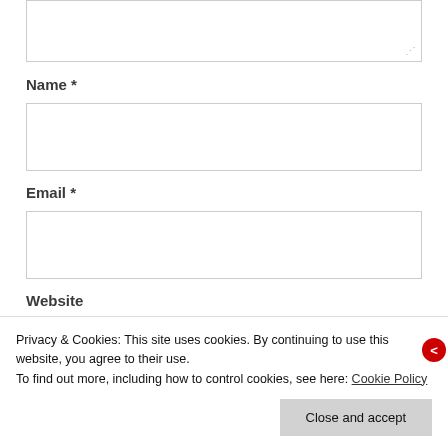[Figure (screenshot): Textarea input box (partially visible, top of page) with resize handle at bottom-right corner]
Name *
[Figure (screenshot): Name text input field — empty, single line input box with border]
Email *
[Figure (screenshot): Email text input field — empty, single line input box with border]
Website
Privacy & Cookies: This site uses cookies. By continuing to use this website, you agree to their use.
To find out more, including how to control cookies, see here: Cookie Policy
[Figure (screenshot): Close and accept button for cookie notice, grey rectangular button]